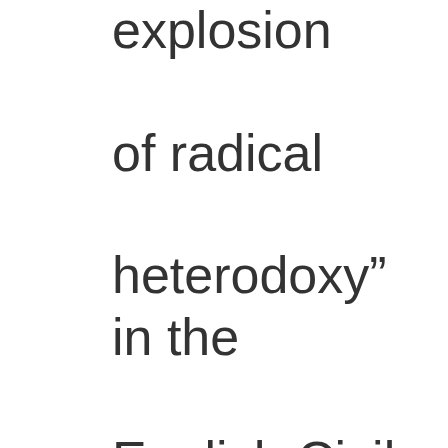explosion of radical heterodoxy” in the English Civil War. [114]

The Lollards had mined the English